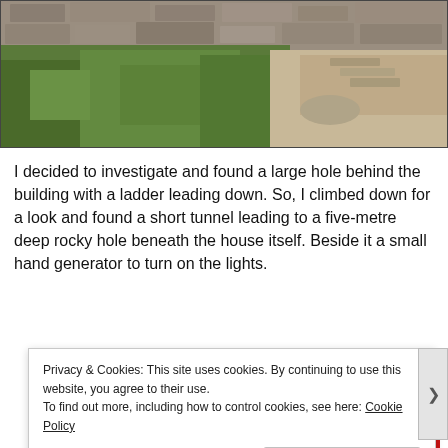[Figure (photo): Outdoor photo showing a stone wall at top with green vegetation and a dirt/gravel path area to the right]
I decided to investigate and found a large hole behind the building with a ladder leading down. So, I climbed down for a look and found a short tunnel leading to a five-metre deep rocky hole beneath the house itself. Beside it a small hand generator to turn on the lights.
[Figure (photo): Red background advertisement image showing a smartphone with media controls (pause button, replay button) on a dark phone screen with red case]
Privacy & Cookies: This site uses cookies. By continuing to use this website, you agree to their use.
To find out more, including how to control cookies, see here: Cookie Policy
Close and accept